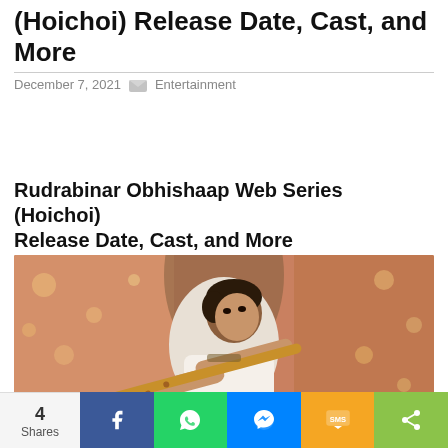(Hoichoi) Release Date, Cast, and More
December 7, 2021   Entertainment
Rudrabinar Obhishaap Web Series (Hoichoi) Release Date, Cast, and More
[Figure (photo): A young person playing a flute, wearing a white outfit, with a warm orange/pink bokeh background with string lights.]
4 Shares